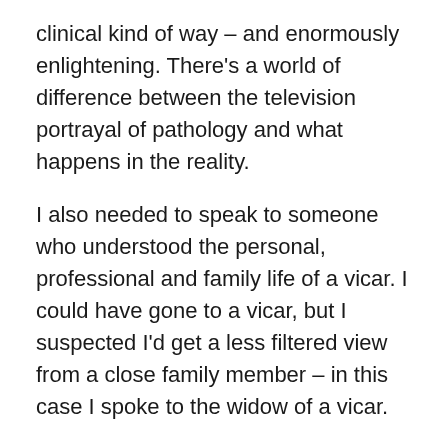clinical kind of way – and enormously enlightening. There's a world of difference between the television portrayal of pathology and what happens in the reality.
I also needed to speak to someone who understood the personal, professional and family life of a vicar. I could have gone to a vicar, but I suspected I'd get a less filtered view from a close family member – in this case I spoke to the widow of a vicar.
We discussed the proposed character – a minor player who makes a few key contributions to the plot and character motivations who will, however, be important in a later book.
Again, some of my assumptions were simply wrong. One of these was that my vicar, who is at the point of